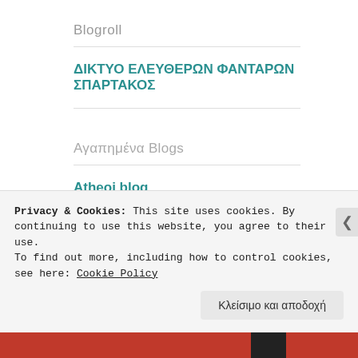Blogroll
ΔΙΚΤΥΟ ΕΛΕΥΘΕΡΩΝ ΦΑΝΤΑΡΩΝ ΣΠΑΡΤΑΚΟΣ
Αγαπημένα Blogs
Atheoi blog
dr SeenG
Privacy & Cookies: This site uses cookies. By continuing to use this website, you agree to their use.
To find out more, including how to control cookies, see here: Cookie Policy
Κλείσιμο και αποδοχή